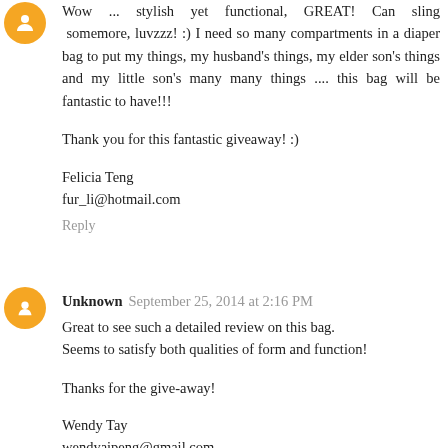Wow ... stylish yet functional, GREAT! Can sling somemore, luvzzz! :) I need so many compartments in a diaper bag to put my things, my husband's things, my elder son's things and my little son's many many things .... this bag will be fantastic to have!!!
Thank you for this fantastic giveaway! :)
Felicia Teng
fur_li@hotmail.com
Reply
Unknown  September 25, 2014 at 2:16 PM
Great to see such a detailed review on this bag.
Seems to satisfy both qualities of form and function!
Thanks for the give-away!
Wendy Tay
wendyaipeng@gmail.com
Reply